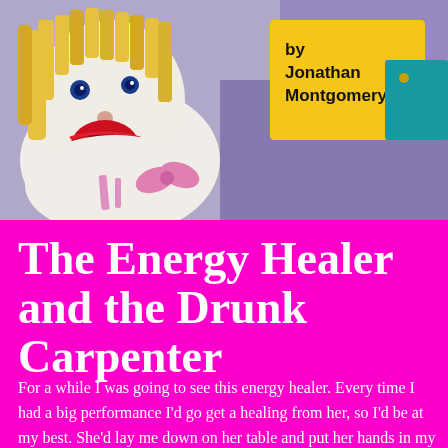[Figure (photo): A handmade cloth doll with yellow yarn hair, a wide red mouth, and blue button eyes, wearing a white outfit with pink bow. In the background is a yellow sign with text 'by Jonathan Montgomery' and a teal/blue object.]
The Energy Healer and the Drunk Carpenter
For a while I was going to see this energy healer. Every time I had a big performance I'd go get a healing from her, so I'd be at my best. She'd lay me down on her table and put her hands in my aura and try to get my chakras spinning in the right direction again.